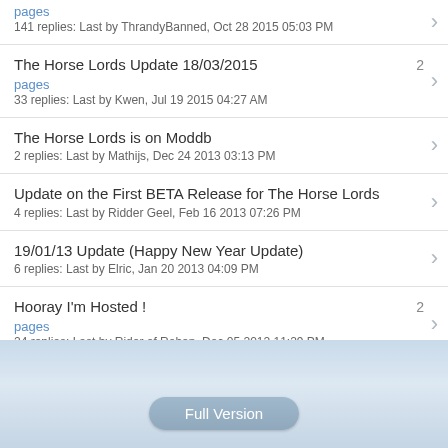pages
141 replies: Last by ThrandyBanned, Oct 28 2015 05:03 PM
The Horse Lords Update 18/03/2015
2 pages
33 replies: Last by Kwen, Jul 19 2015 04:27 AM
The Horse Lords is on Moddb
2 replies: Last by Mathijs, Dec 24 2013 03:13 PM
Update on the First BETA Release for The Horse Lords
4 replies: Last by Ridder Geel, Feb 16 2013 07:26 PM
19/01/13 Update (Happy New Year Update)
6 replies: Last by Elric, Jan 20 2013 04:09 PM
Hooray I'm Hosted !
2 pages
24 replies: Last by Rider of Rohan, Dec 05 2012 11:29 PM
Full Version